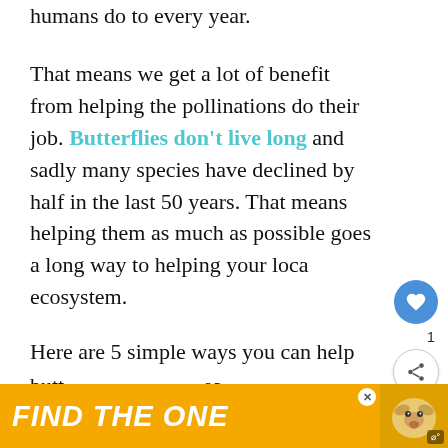humans do to every year.
That means we get a lot of benefit from helping the pollinations do their job. Butterflies don't live long and sadly many species have declined by half in the last 50 years. That means helping them as much as possible goes a long way to helping your local ecosystem.
Here are 5 simple ways you can help butterflies in your area.
[Figure (other): What's Next promotional card showing butterfly image with text 'How To Make Butterfly...']
[Figure (other): Bottom advertisement banner with yellow background reading 'FIND THE ONE' with a dog image and close button]